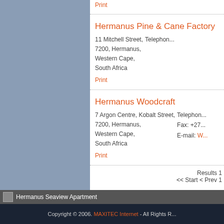Print
Hermanus Pine & Cane Factory
11 Mitchell Street, 7200, Hermanus, Western Cape, South Africa
Telephon...
Print
Hermanus Woodcraft
7 Argon Centre, Kobalt Street, 7200, Hermanus, Western Cape, South Africa
Telephon...
Fax: +27...
E-mail: W...
Print
Results 1
<< Start < Prev 1
Hermanus Seaview Apartment
Copyright © 2006. MAXITEC Internet - All Rights R...